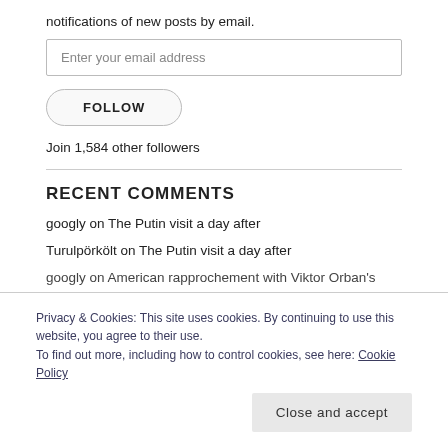notifications of new posts by email.
Enter your email address
FOLLOW
Join 1,584 other followers
RECENT COMMENTS
googly on The Putin visit a day after
Turulpörkölt on The Putin visit a day after
Privacy & Cookies: This site uses cookies. By continuing to use this website, you agree to their use.
To find out more, including how to control cookies, see here: Cookie Policy
Close and accept
googly on American rapprochement with Viktor Orban's